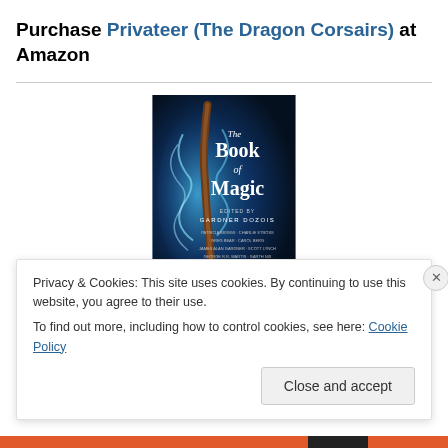Purchase Privateer (The Dragon Corsairs) at Amazon
[Figure (illustration): Book cover of 'The Book of Magic' edited by Gardner Dozois, showing a dark fantasy cover with blue mystical flames and a staff/wand, with author names listed below]
Privacy & Cookies: This site uses cookies. By continuing to use this website, you agree to their use.
To find out more, including how to control cookies, see here: Cookie Policy
Close and accept